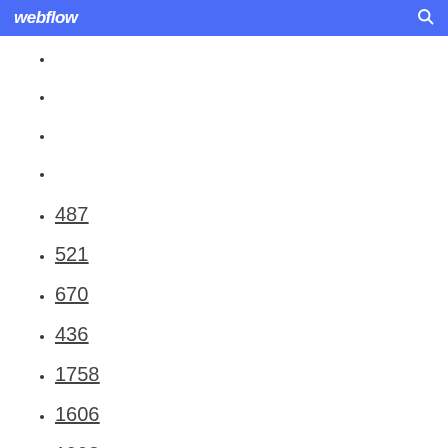webflow
487
521
670
436
1758
1606
1993
1633